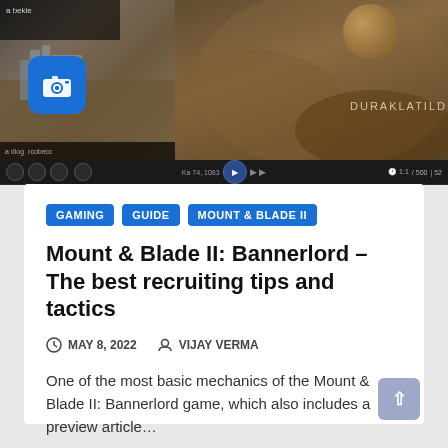[Figure (screenshot): Screenshot of Mount & Blade II: Bannerlord game paused, showing game UI with camera icon overlay, landscape terrain, moon, and bottom control bar with text DURAKLATILDI]
GAMING
GUIDE
MOUNT & BLADE II
Mount & Blade II: Bannerlord – The best recruiting tips and tactics
MAY 8, 2022   VIJAY VERMA
One of the most basic mechanics of the Mount & Blade II: Bannerlord game, which also includes a preview article…